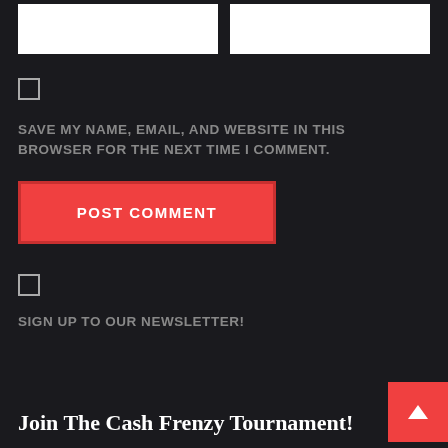[Figure (screenshot): Two white input form fields side by side at the top of the page]
[Figure (screenshot): Checkbox (unchecked) for saving name/email/website]
SAVE MY NAME, EMAIL, AND WEBSITE IN THIS BROWSER FOR THE NEXT TIME I COMMENT.
[Figure (screenshot): Red 'POST COMMENT' button]
[Figure (screenshot): Checkbox (unchecked) for newsletter sign-up]
SIGN UP TO OUR NEWSLETTER!
Join The Cash Frenzy Tournament!